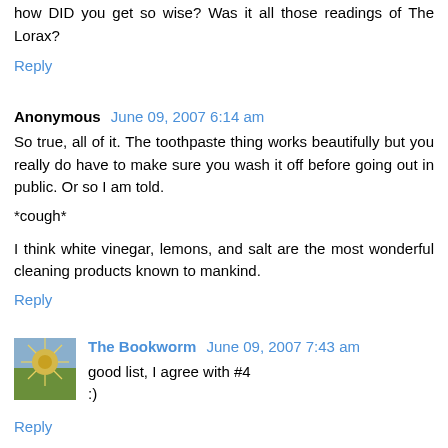how DID you get so wise? Was it all those readings of The Lorax?
Reply
Anonymous June 09, 2007 6:14 am
So true, all of it. The toothpaste thing works beautifully but you really do have to make sure you wash it off before going out in public. Or so I am told.
*cough*
I think white vinegar, lemons, and salt are the most wonderful cleaning products known to mankind.
Reply
The Bookworm June 09, 2007 7:43 am
good list, I agree with #4
:)
Reply